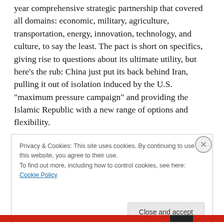year comprehensive strategic partnership that covered all domains: economic, military, agriculture, transportation, energy, innovation, technology, and culture, to say the least. The pact is short on specifics, giving rise to questions about its ultimate utility, but here’s the rub: China just put its back behind Iran, pulling it out of isolation induced by the U.S. “maximum pressure campaign” and providing the Islamic Republic with a new range of options and flexibility.
Privacy & Cookies: This site uses cookies. By continuing to use this website, you agree to their use. To find out more, including how to control cookies, see here: Cookie Policy
Close and accept